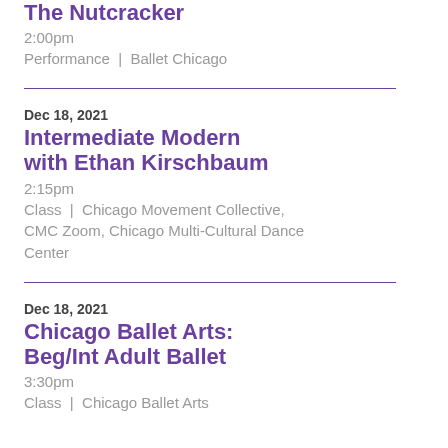The Nutcracker
2:00pm
Performance | Ballet Chicago
Dec 18, 2021
Intermediate Modern with Ethan Kirschbaum
2:15pm
Class | Chicago Movement Collective, CMC Zoom, Chicago Multi-Cultural Dance Center
Dec 18, 2021
Chicago Ballet Arts: Beg/Int Adult Ballet
3:30pm
Class | Chicago Ballet Arts